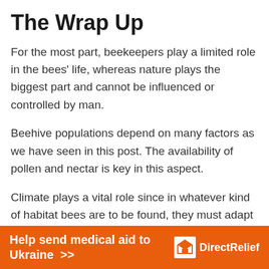The Wrap Up
For the most part, beekeepers play a limited role in the bees' life, whereas nature plays the biggest part and cannot be influenced or controlled by man.
Beehive populations depend on many factors as we have seen in this post. The availability of pollen and nectar is key in this aspect.
Climate plays a vital role since in whatever kind of habitat bees are to be found, they must adapt to survive and grow. Whether in hot desert conditions or freezing temperate environments, bees have evolved and shown a resilient adaptation.
[Figure (infographic): Orange banner advertisement: 'Help send medical aid to Ukraine >>' with Direct Relief logo on the right]